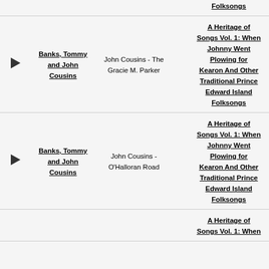|  | Artist | Track | Album |
| --- | --- | --- | --- |
| ▶ | Banks, Tommy and John Cousins | John Cousins - The Gracie M. Parker | A Heritage of Songs Vol. 1: When Johnny Went Plowing for Kearon And Other Traditional Prince Edward Island Folksongs |
| ▶ | Banks, Tommy and John Cousins | John Cousins - O'Halloran Road | A Heritage of Songs Vol. 1: When Johnny Went Plowing for Kearon And Other Traditional Prince Edward Island Folksongs |
| ▶ |  |  | A Heritage of Songs Vol. 1: When |